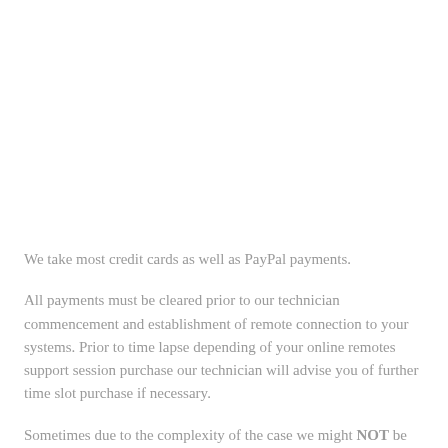We take most credit cards as well as PayPal payments.
All payments must be cleared prior to our technician commencement and establishment of remote connection to your systems. Prior to time lapse depending of your online remotes support session purchase our technician will advise you of further time slot purchase if necessary.
Sometimes due to the complexity of the case we might NOT be able to resolve your issue remotely, therefore we will advise you that our on-site visit would be required in which